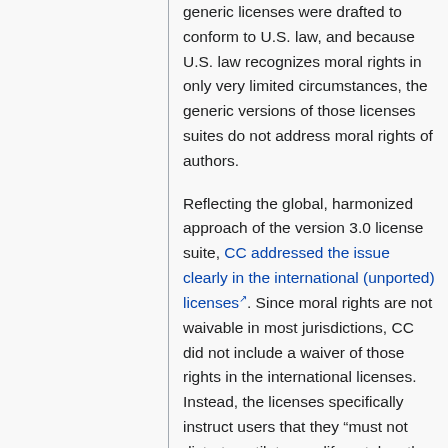generic licenses were drafted to conform to U.S. law, and because U.S. law recognizes moral rights in only very limited circumstances, the generic versions of those licenses suites do not address moral rights of authors.
Reflecting the global, harmonized approach of the version 3.0 license suite, CC addressed the issue clearly in the international (unported) licenses. Since moral rights are not waivable in most jurisdictions, CC did not include a waiver of those rights in the international licenses. Instead, the licenses specifically instruct users that they “must not distort, mutilate, modify or take other derogatory action in relation to the Work which would be prejudicial to the Original Author's honor or reputation.” This mandate forbids licensees from making